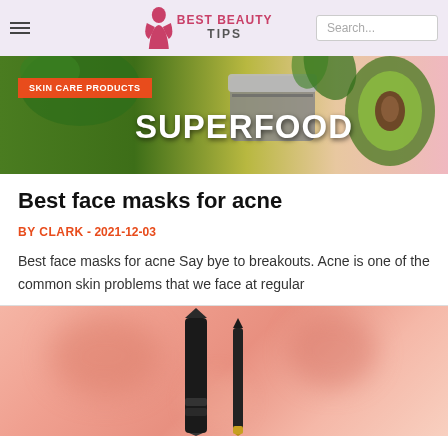Best Beauty Tips | Search...
[Figure (photo): Banner image for Skin Care Products featuring superfood text, green jar with metal lid, avocado, and green vegetables on a colorful background]
Best face masks for acne
BY CLARK  -  2021-12-03
Best face masks for acne Say bye to breakouts. Acne is one of the common skin problems that we face at regular
[Figure (photo): Close-up product photo on a pinkish-peach blurred background showing two makeup/cosmetic pencils or applicators standing upright]